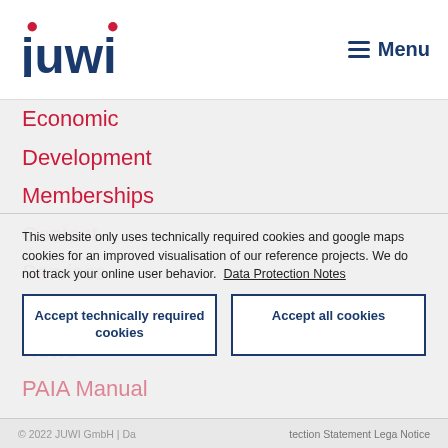juwi | Menu
Economic
Development
Memberships
Contact
Services
Career
News
PAIA Manual
This website only uses technically required cookies and google maps cookies for an improved visualisation of our reference projects. We do not track your online user behavior. Data Protection Notes
Accept technically required cookies
Accept all cookies
© 2022 JUWI GmbH | Data Protection Statement Legal Notice